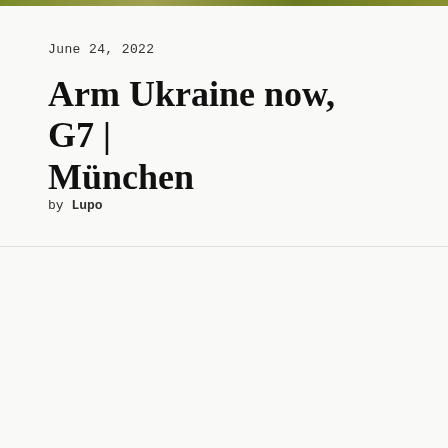June 24, 2022
Arm Ukraine now, G7 | München
by Lupo
We use cookies on our website to give you the most relevant experience by remembering your preferences and repeat visits. By clicking "Accept All", you consent to the use of ALL the cookies. However, you may visit "Cookie Settings" to provide a controlled consent.
Cookie Settings
Accept All